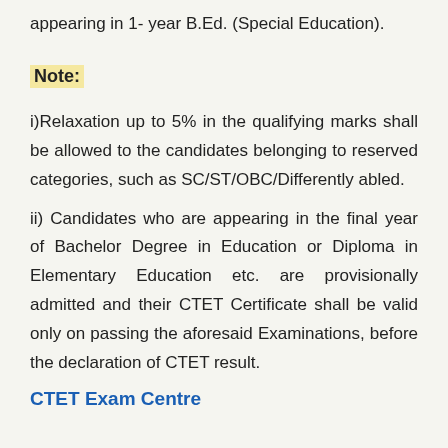appearing in 1- year B.Ed. (Special Education).
Note:
i)Relaxation up to 5% in the qualifying marks shall be allowed to the candidates belonging to reserved categories, such as SC/ST/OBC/Differently abled.
ii) Candidates who are appearing in the final year of Bachelor Degree in Education or Diploma in Elementary Education etc. are provisionally admitted and their CTET Certificate shall be valid only on passing the aforesaid Examinations, before the declaration of CTET result.
CTET Exam Centre